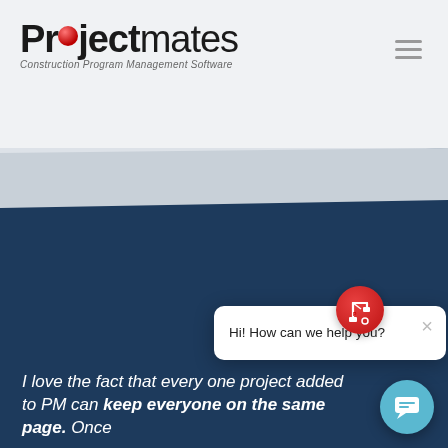[Figure (logo): Projectmates logo with red ball above the letter 'o', bold 'Project' and normal weight 'mates', with tagline 'Construction Program Management Software' beneath]
[Figure (screenshot): Hamburger menu icon (three horizontal lines) in the top right corner of the header]
[Figure (screenshot): Website header with light gray background transitioning to dark navy blue section via a wave/diagonal shape]
[Figure (screenshot): Chat popup widget with red circular icon showing construction equipment logo, close X button, and message 'Hi! How can we help you?']
Hi! How can we help you?
I love the fact that every one project added to PM can keep everyone on the same page. Once